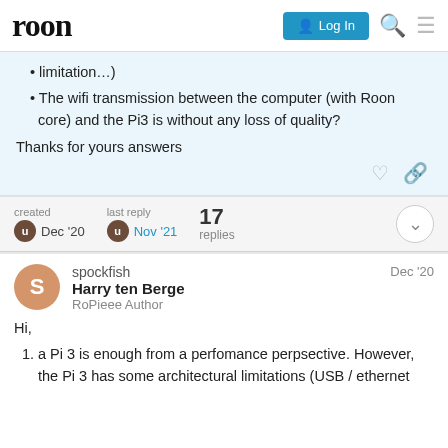roon | Log In
limitation…)
The wifi transmission between the computer (with Roon core) and the Pi3 is without any loss of quality?
Thanks for yours answers
created Dec '20  last reply Nov '21  17 replies
spockfish  Harry ten Berge  RoPieee Author  Dec '20

Hi,

1. a Pi 3 is enough from a perfomance perpsective. However, the Pi 3 has some architectural limitations (USB / ethernet